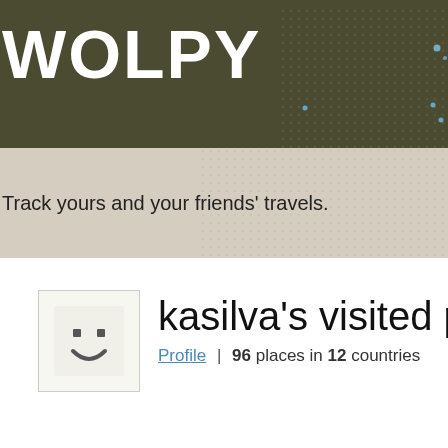WOLPY
Track yours and your friends' travels.
[Figure (illustration): Smiley face avatar icon — simple circle face with two dot eyes and a curved smile on a light background]
kasilva's visited places
Profile | 96 places in 12 countries